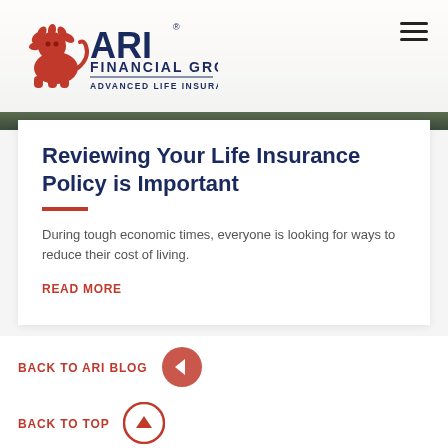[Figure (logo): ARI Financial Group logo with orange lion and 'ADVANCED LIFE INSURANCE CONCEPTS' tagline]
[Figure (photo): Background hero image showing a person in an outdoor/nature setting with blurred background]
Reviewing Your Life Insurance Policy is Important
During tough economic times, everyone is looking for ways to reduce their cost of living.
READ MORE
BACK TO ARI BLOG
BACK TO TOP